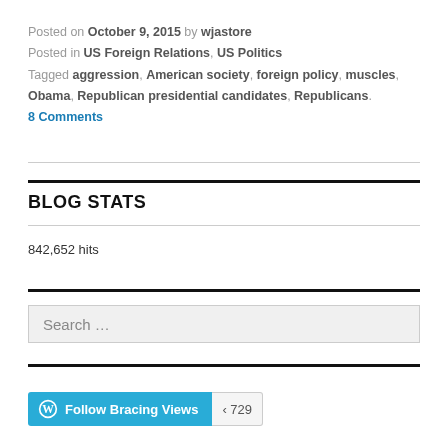Posted on October 9, 2015 by wjastore
Posted in US Foreign Relations, US Politics
Tagged aggression, American society, foreign policy, muscles, Obama, Republican presidential candidates, Republicans.
8 Comments
BLOG STATS
842,652 hits
Search ...
Follow Bracing Views  729